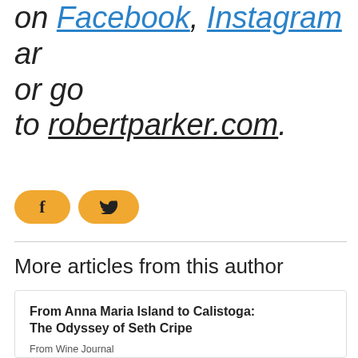on Facebook, Instagram ar or go to robertparker.com.
[Figure (other): Two social share buttons: Facebook (f) and Twitter (bird icon), styled as golden/amber rounded pill buttons]
More articles from this author
From Anna Maria Island to Calistoga: The Odyssey of Seth Cripe
From Wine Journal
27 Jan 2020